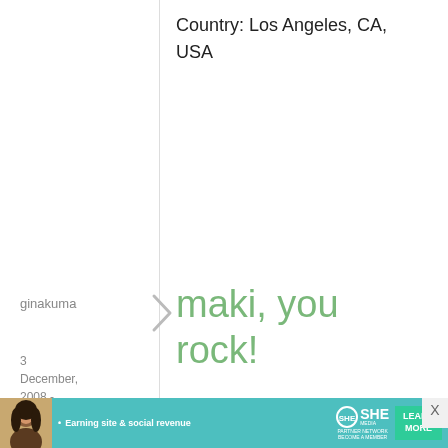Country: Los Angeles, CA, USA
ginakuma
3 December, 2008 - 06:40
permalink
maki, you rock!
Hey... It's my birthday too!
My name is Gina of Tampa, FL, USA.
If I win, I'll send you
[Figure (infographic): Advertisement banner: SHE Partner Network - Earning site & social revenue - LEARN MORE - BECOME A MEMBER]